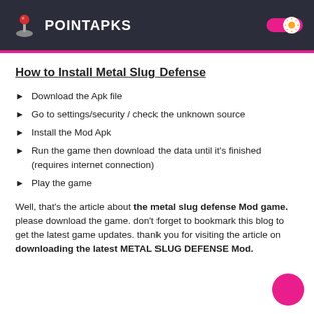POINTAPKS
How to Install Metal Slug Defense
Download the Apk file
Go to settings/security / check the unknown source
Install the Mod Apk
Run the game then download the data until it's finished (requires internet connection)
Play the game
Well, that's the article about the metal slug defense Mod game. please download the game. don't forget to bookmark this blog to get the latest game updates. thank you for visiting the article on downloading the latest METAL SLUG DEFENSE Mod.